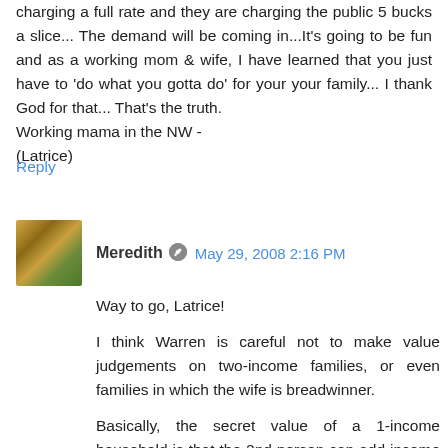charging a full rate and they are charging the public 5 bucks a slice... The demand will be coming in...It's going to be fun and as a working mom & wife, I have learned that you just have to 'do what you gotta do' for your your family... I thank God for that... That's the truth.
Working mama in the NW -
(Latrice)
Reply
Meredith  May 29, 2008 2:16 PM
Way to go, Latrice!
I think Warren is careful not to make value judgements on two-income families, or even families in which the wife is breadwinner.
Basically, the secret value of a 1-income household is that the 2nd person can add income if necessary--if a spouse becomes disabled or loses the job.
The danger is when a household is set up to NEED 2